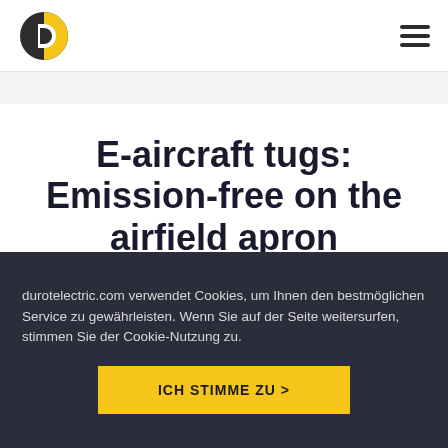[Figure (logo): Durot Electric logo: circular icon split into dark and yellow halves with a D-shaped cutout]
E-aircraft tugs: Emission-free on the airfield apron
Even airplanes can be towed
durotelectric.com verwendet Cookies, um Ihnen den bestmöglichen Service zu gewährleisten. Wenn Sie auf der Seite weitersurfen, stimmen Sie der Cookie-Nutzung zu.
ICH STIMME ZU >